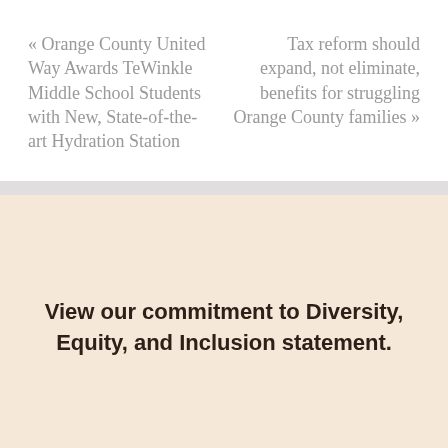« Orange County United Way Awards TeWinkle Middle School Students with New, State-of-the-art Hydration Station
Tax reform should expand, not eliminate, benefits for struggling Orange County families »
View our commitment to Diversity, Equity, and Inclusion statement.